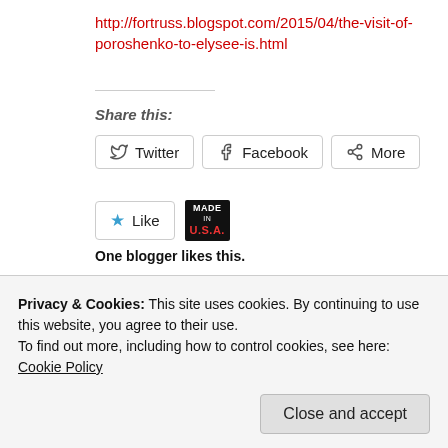http://fortruss.blogspot.com/2015/04/the-visit-of-poroshenko-to-elysee-is.html
Share this:
[Figure (other): Social share buttons: Twitter, Facebook, More]
[Figure (other): Like button with star icon; Made in USA badge]
One blogger likes this.
Related
Report: Zelensky obstructs peace talks; LPR sends HIMARS
Kiev launches major offensive against DPR (Biden's final
Privacy & Cookies: This site uses cookies. By continuing to use this website, you agree to their use.
To find out more, including how to control cookies, see here: Cookie Policy
Close and accept